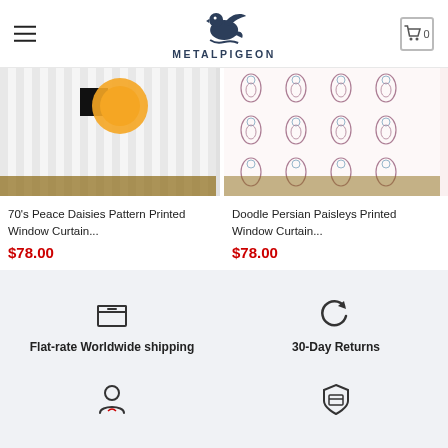METALPIGEON
[Figure (photo): Product photo of 70s Peace Daisies Pattern Printed Window Curtain showing abstract circular art print on white curtain]
70’s Peace Daisies Pattern Printed Window Curtain...
$78.00
[Figure (photo): Product photo of Doodle Persian Paisleys Printed Window Curtain showing ornate paisley pattern on white curtain]
Doodle Persian Paisleys Printed Window Curtain...
$78.00
Flat-rate Worldwide shipping
30-Day Returns